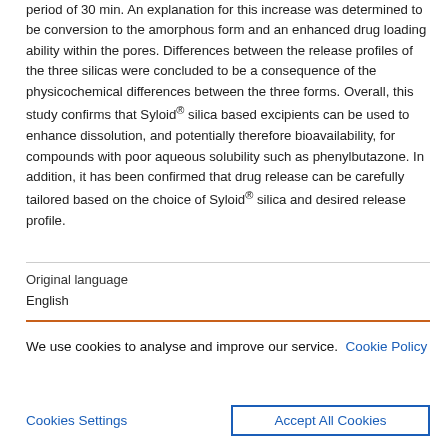period of 30 min. An explanation for this increase was determined to be conversion to the amorphous form and an enhanced drug loading ability within the pores. Differences between the release profiles of the three silicas were concluded to be a consequence of the physicochemical differences between the three forms. Overall, this study confirms that Syloid® silica based excipients can be used to enhance dissolution, and potentially therefore bioavailability, for compounds with poor aqueous solubility such as phenylbutazone. In addition, it has been confirmed that drug release can be carefully tailored based on the choice of Syloid® silica and desired release profile.
Original language
English
We use cookies to analyse and improve our service. Cookie Policy
Cookies Settings
Accept All Cookies